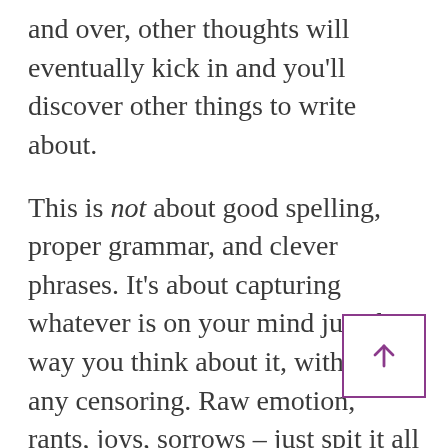and over, other thoughts will eventually kick in and you'll discover other things to write about.
This is not about good spelling, proper grammar, and clever phrases. It's about capturing whatever is on your mind just the way you think about it, without any censoring. Raw emotion, rants, joys, sorrows – just spit it all out.
And do this every day. Some people like to do it first thing in